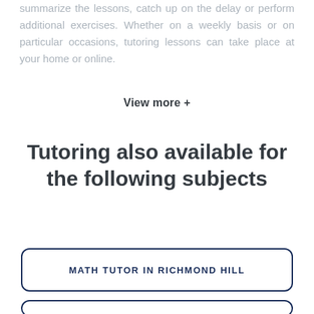summarize the lessons, catch up on the delay or perform additional exercises. Whether on a weekly basis or on particular occasions, tutoring lessons can take place at your home or online.
View more +
Tutoring also available for the following subjects
MATH TUTOR IN RICHMOND HILL